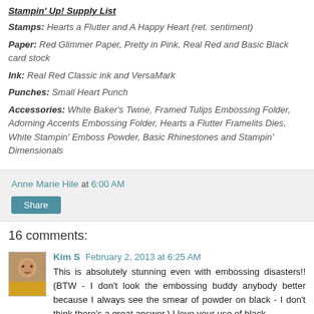Stampin' Up! Supply List
Stamps: Hearts a Flutter and A Happy Heart (ret. sentiment)
Paper: Red Glimmer Paper, Pretty in Pink, Real Red and Basic Black card stock
Ink: Real Red Classic ink and VersaMark
Punches: Small Heart Punch
Accessories: White Baker's Twine, Framed Tulips Embossing Folder, Adorning Accents Embossing Folder, Hearts a Flutter Framelits Dies, White Stampin' Emboss Powder, Basic Rhinestones and Stampin' Dimensionals
Anne Marie Hile at 6:00 AM
Share
16 comments:
Kim S February 2, 2013 at 6:25 AM
This is absolutely stunning even with embossing disasters!! (BTW - I don't look the embossing buddy anybody better because I always see the smear of powder on black - I don't think there's a great answer.) I love your use of black